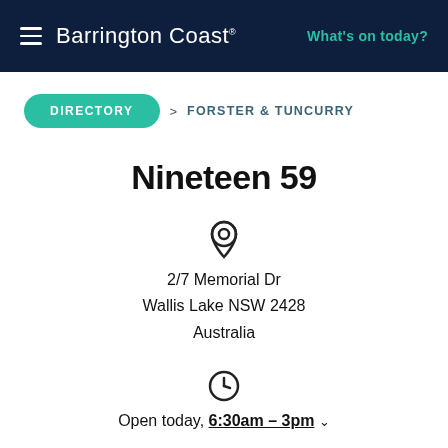Barrington Coast | What's on today?
DIRECTORY > FORSTER & TUNCURRY
Nineteen 59
2/7 Memorial Dr
Wallis Lake NSW 2428
Australia
Open today, 6:30am – 3pm